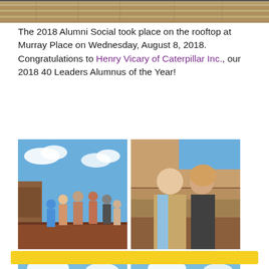[Figure (photo): Top portion of a rooftop deck with wooden slat flooring visible at the top of the page]
The 2018 Alumni Social took place on the rooftop at Murray Place on Wednesday, August 8, 2018. Congratulations to Henry Vicary of Caterpillar Inc., our 2018 40 Leaders Alumnus of the Year!
[Figure (photo): Four-photo collage: top-left shows a group of people socializing on a rooftop under blue sky; top-right shows a man in a tan blazer and woman in black posing together; bottom-left shows three men posing together smiling; bottom-right shows four women posing together smiling outdoors]
[Figure (other): Yellow horizontal bar at the bottom of the page]